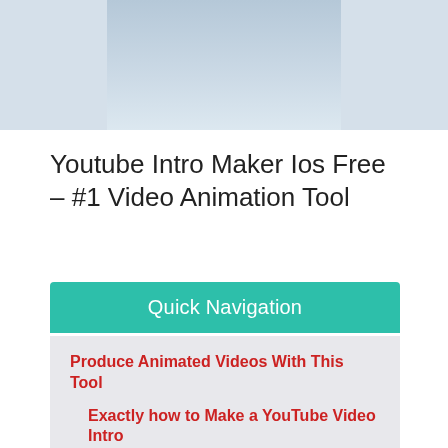[Figure (photo): Cropped photo showing a light blue/grey background, partial image of an object at the top of the page]
Youtube Intro Maker Ios Free – #1 Video Animation Tool
Quick Navigation
Produce Animated Videos With This Tool
Exactly how to Make a YouTube Video Intro